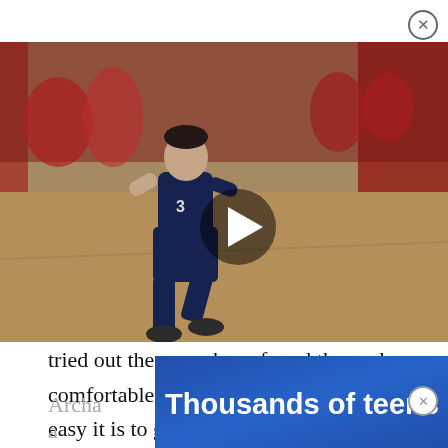[Figure (photo): Basketball player in blue uniform crouching/defending on a basketball court, with other players and red walls in background. Video overlay with play button.]
Continuing on, Guy talked abo who have tried out the game have found themselves comfortable with it, even surprised at how easy it is to get into and enjoy without worrying about getting sick or anything. This is really good news, as Archangel: Hellfire is by far one of the most intense experiences we've ever tried in virtual reality. The sheer level of action happening in the game at all times can be overwhelming at first, but with the systems that they've put in place working the way they do, it all comes off surprisingly well.
[Figure (infographic): Advertisement banner with blue background showing 'Thousands of teens' in bold white text]
Archa was a